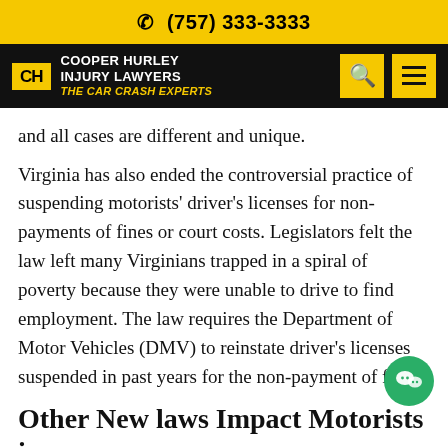(757) 333-3333
[Figure (logo): Cooper Hurley Injury Lawyers – The Car Crash Experts logo with navigation icons]
and all cases are different and unique.
Virginia has also ended the controversial practice of suspending motorists' driver's licenses for non-payments of fines or court costs. Legislators felt the law left many Virginians trapped in a spiral of poverty because they were unable to drive to find employment. The law requires the Department of Motor Vehicles (DMV) to reinstate driver's licenses suspended in past years for the non-payment of f…
Other New laws Impact Motorists in